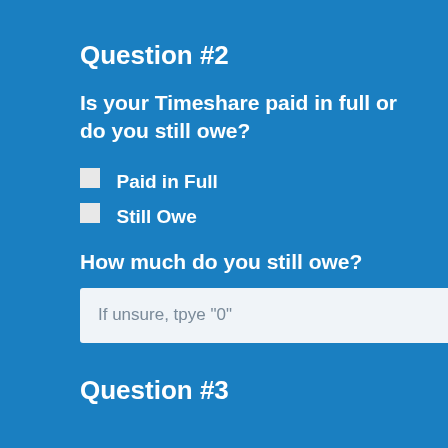Question #2
Is your Timeshare paid in full or do you still owe?
Paid in Full
Still Owe
How much do you still owe?
If unsure, tpye "0"
Question #3